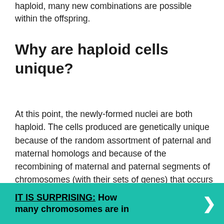haploid, many new combinations are possible within the offspring.
Why are haploid cells unique?
At this point, the newly-formed nuclei are both haploid. The cells produced are genetically unique because of the random assortment of paternal and maternal homologs and because of the recombining of maternal and paternal segments of chromosomes (with their sets of genes) that occurs during crossover.
IT IS SURPRISING:  How many chromosomes are in